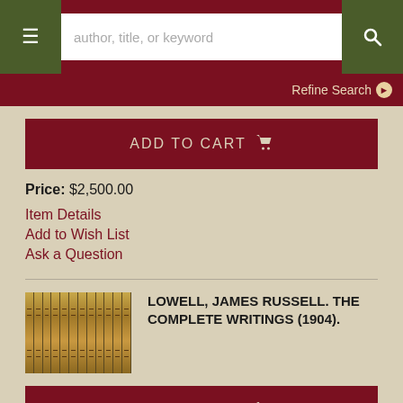author, title, or keyword
Refine Search
ADD TO CART
Price: $2,500.00
Item Details
Add to Wish List
Ask a Question
[Figure (photo): A row of antique leather-bound books with decorative gold spines, part of a multi-volume set.]
LOWELL, JAMES RUSSELL. THE COMPLETE WRITINGS (1904).
ADD TO CART